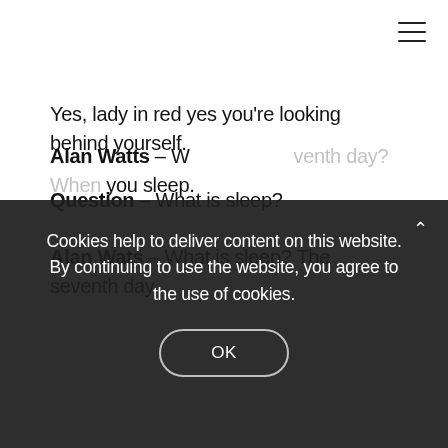☰
Yes, lady in red yes you're looking behind yourself.
Question – What is sleep?
Alan Wats – What is sleep? The seventh day.
Alan Watts – What is the seventh day? When you sleep.
Yes
Cookies help to deliver content on this website. By continuing to use the website, you agree to the use of cookies.
OK